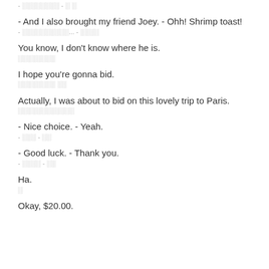- ░░░░░░░░ - ░ ░
- And I also brought my friend Joey. - Ohh! Shrimp toast!
- ░░░░░░░░░░... - ░░░░
You know, I don't know where he is.
░░░░░░░░
I hope you're gonna bid.
░░░░░░░░ ░░
Actually, I was about to bid on this lovely trip to Paris.
░░░░░░░░░░░░
- Nice choice. - Yeah.
- ░░░ - ░░
- Good luck. - Thank you.
- ░░░░ - ░░
Ha.
░
Okay, $20.00.